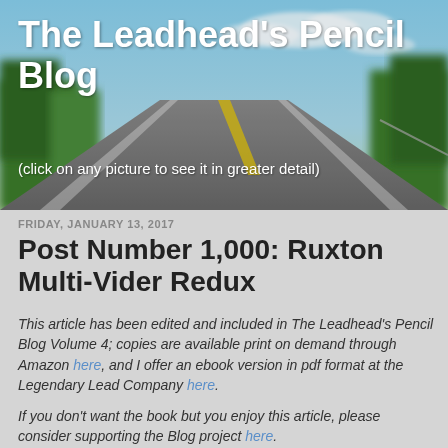[Figure (photo): Header image of a road stretching into the distance with blue sky, trees on both sides, and green landscape. Blurred/bokeh style background.]
The Leadhead's Pencil Blog
(click on any picture to see it in greater detail)
FRIDAY, JANUARY 13, 2017
Post Number 1,000: Ruxton Multi-Vider Redux
This article has been edited and included in The Leadhead's Pencil Blog Volume 4; copies are available print on demand through Amazon here, and I offer an ebook version in pdf format at the Legendary Lead Company here.
If you don't want the book but you enjoy this article, please consider supporting the Blog project here.